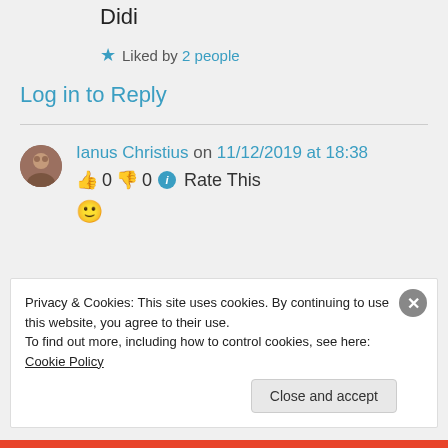Didi
★ Liked by 2 people
Log in to Reply
Ianus Christius on 11/12/2019 at 18:38
👍 0 👎 0 ℹ Rate This
🙂
Privacy & Cookies: This site uses cookies. By continuing to use this website, you agree to their use. To find out more, including how to control cookies, see here: Cookie Policy
Close and accept